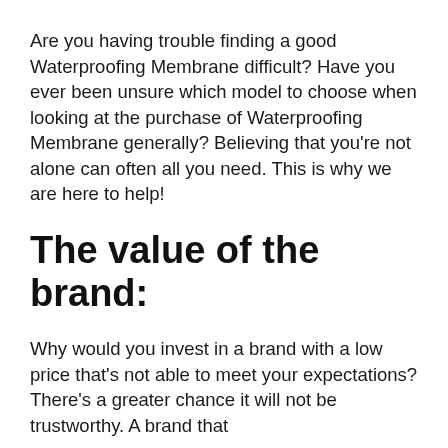Are you having trouble finding a good Waterproofing Membrane difficult? Have you ever been unsure which model to choose when looking at the purchase of Waterproofing Membrane generally? Believing that you're not alone can often all you need. This is why we are here to help!
The value of the brand:
Why would you invest in a brand with a low price that's not able to meet your expectations? There's a greater chance it will not be trustworthy. A brand that is well-known for...</p>